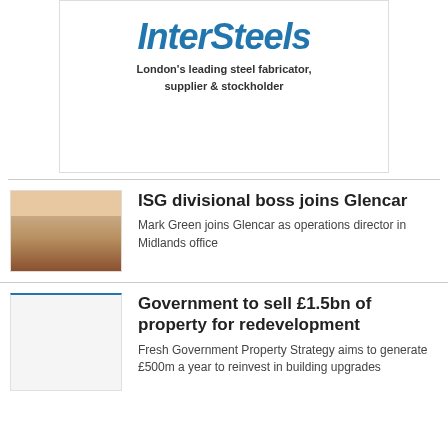[Figure (logo): InterSteels advertisement box with logo and tagline: London's leading steel fabricator, supplier & stockholder]
ISG divisional boss joins Glencar
Mark Green joins Glencar as operations director in Midlands office
Government to sell £1.5bn of property for redevelopment
Fresh Government Property Strategy aims to generate £500m a year to reinvest in building upgrades